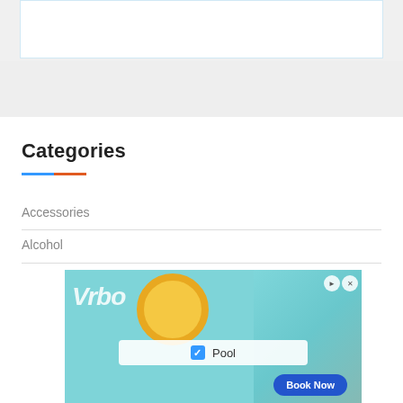[Figure (other): White content box at top of page]
Categories
Accessories
Alcohol
[Figure (photo): Advertisement banner for Vrbo showing a pool scene with a colorful donut float, a woman with a hat sitting poolside, a Pool checkbox filter, and a Book Now button]